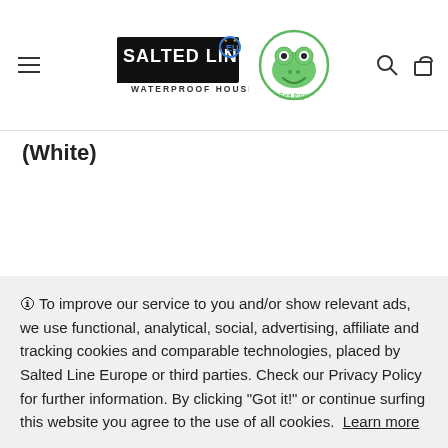[Figure (logo): Salted Line EU waterproof housings logo with frog mascot (Sea Frogs)]
(White)
Full camera control available, except the joystick
To improve our service to you and/or show relevant ads, we use functional, analytical, social, advertising, affiliate and tracking cookies and comparable technologies, placed by Salted Line Europe or third parties. Check our Privacy Policy for further information. By clicking “Got it!” or continue surfing this website you agree to the use of all cookies.  Learn more
Got it!
of its compact size and near all functionality, it is an